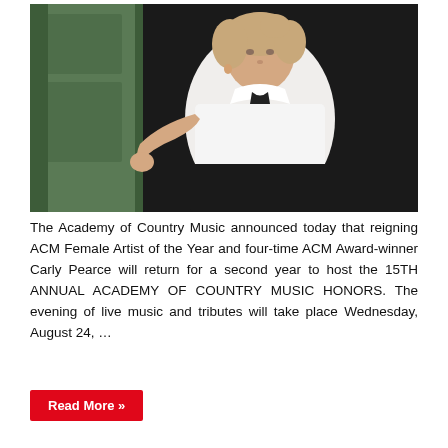[Figure (photo): A woman in a white blouse with a black bow tie and black skirt, leaning against a green wooden door frame with a dark background.]
The Academy of Country Music announced today that reigning ACM Female Artist of the Year and four-time ACM Award-winner Carly Pearce will return for a second year to host the 15TH ANNUAL ACADEMY OF COUNTRY MUSIC HONORS. The evening of live music and tributes will take place Wednesday, August 24, ...
Read More »